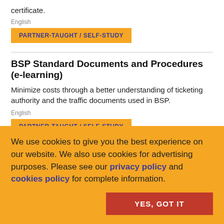certificate.
English
PARTNER-TAUGHT / SELF-STUDY
BSP Standard Documents and Procedures (e-learning)
Minimize costs through a better understanding of ticketing authority and the traffic documents used in BSP.
English
PARTNER-TAUGHT / SELF-STUDY
We use cookies to give you the best experience on our website. We also use cookies for advertising purposes. Please see our privacy policy and cookies policy for complete information.